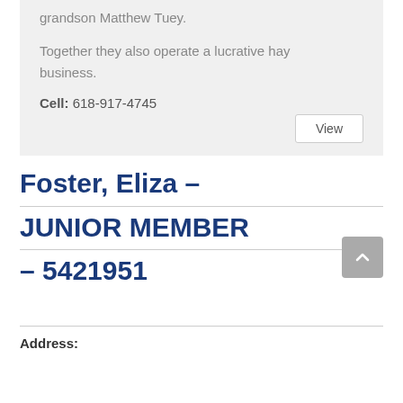grandson Matthew Tuey.
Together they also operate a lucrative hay business.
Cell: 618-917-4745
Foster, Eliza – JUNIOR MEMBER – 5421951
Address: